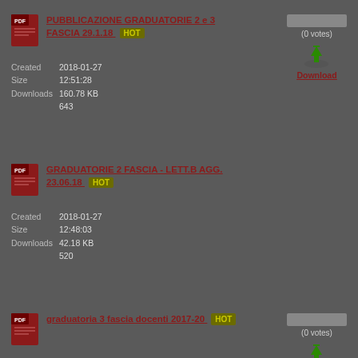PUBBLICAZIONE GRADUATORIE 2 e 3 FASCIA 29.1.18 HOT — (0 votes) Download — Created 2018-01-27 12:51:28, Size 160.78 KB, Downloads 643
GRADUATORIE 2 FASCIA - LETT.B AGG. 23.06.18 HOT — (0 votes) Download — Created 2018-01-27 12:48:03, Size 42.18 KB, Downloads 520
graduatoria 3 fascia docenti 2017-20 HOT — (0 votes) Download — Created 2017-09-12 10:51:58, Size 161.78 KB